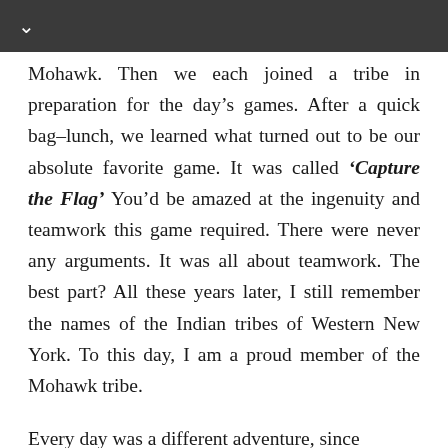Mohawk. Then we each joined a tribe in preparation for the day’s games. After a quick bag–lunch, we learned what turned out to be our absolute favorite game. It was called ‘Capture the Flag’ You’d be amazed at the ingenuity and teamwork this game required. There were never any arguments. It was all about teamwork. The best part? All these years later, I still remember the names of the Indian tribes of Western New York. To this day, I am a proud member of the Mohawk tribe.
Every day was a different adventure, since